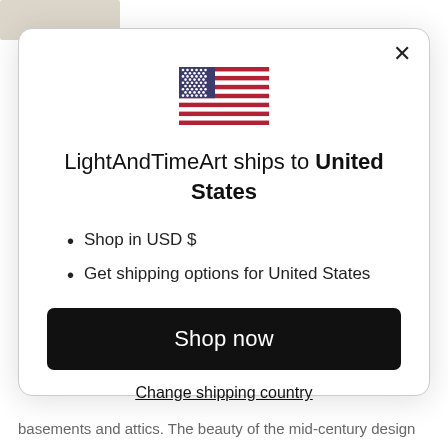[Figure (screenshot): Partial product image visible at top-left corner of page background]
[Figure (illustration): US flag SVG icon centered in the modal dialog]
LightAndTimeArt ships to United States
Shop in USD $
Get shipping options for United States
Shop now
Change shipping country
basements and attics. The beauty of the mid-century design